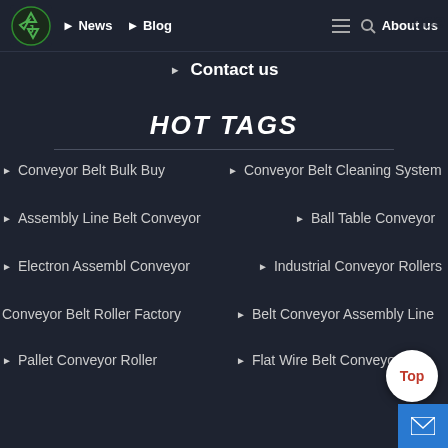News | Blog | About us
Contact us
HOT TAGS
Conveyor Belt Bulk Buy
Conveyor Belt Cleaning System
Assembly Line Belt Conveyor
Ball Table Conveyor
Electron Assembl Conveyor
Industrial Conveyor Rollers
Conveyor Belt Roller Factory
Belt Conveyor Assembly Line
Pallet Conveyor Roller
Flat Wire Belt Conveyors